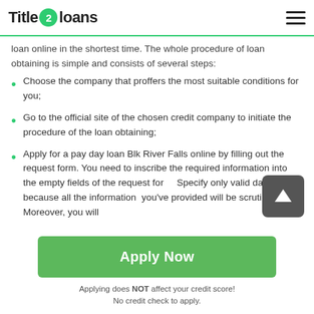Title 2 loans
loan online in the shortest time. The whole procedure of loan obtaining is simple and consists of several steps:
Choose the company that proffers the most suitable conditions for you;
Go to the official site of the chosen credit company to initiate the procedure of the loan obtaining;
Apply for a pay day loan Blk River Falls online by filling out the request form. You need to inscribe the required information into the empty fields of the request form. Specify only valid data because all the information you've provided will be scrutinized. Moreover, you will
Apply Now
Applying does NOT affect your credit score!
No credit check to apply.